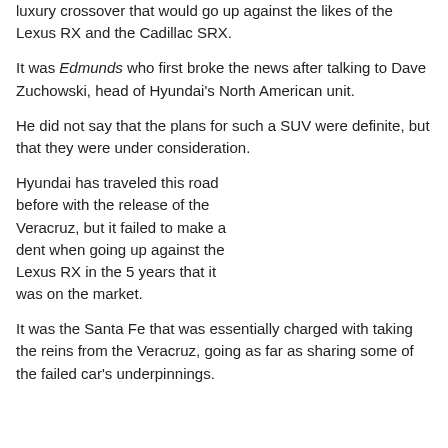luxury crossover that would go up against the likes of the Lexus RX and the Cadillac SRX.
It was Edmunds who first broke the news after talking to Dave Zuchowski, head of Hyundai's North American unit.
He did not say that the plans for such a SUV were definite, but that they were under consideration.
Hyundai has traveled this road before with the release of the Veracruz, but it failed to make a dent when going up against the Lexus RX in the 5 years that it was on the market.
It was the Santa Fe that was essentially charged with taking the reins from the Veracruz, going as far as sharing some of the failed car's underpinnings.